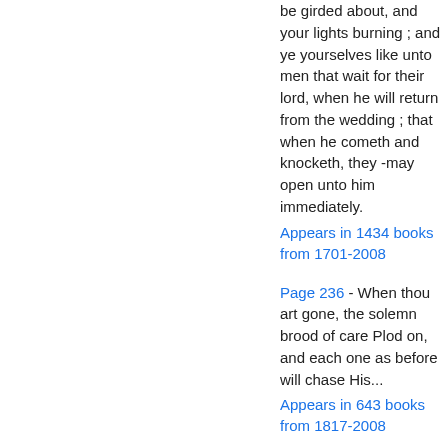be girded about, and your lights burning ; and ye yourselves like unto men that wait for their lord, when he will return from the wedding ; that when he cometh and knocketh, they -may open unto him immediately.
Appears in 1434 books from 1701-2008
Page 236 - When thou art gone, the solemn brood of care Plod on, and each one as before will chase His...
Appears in 643 books from 1817-2008
Page 249 - For ye are not come unto the mount that might be touched...